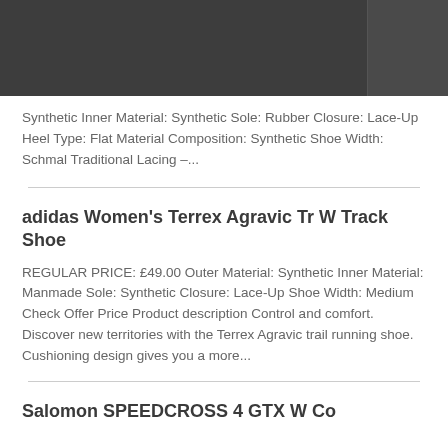Synthetic Inner Material: Synthetic Sole: Rubber Closure: Lace-Up Heel Type: Flat Material Composition: Synthetic Shoe Width: Schmal Traditional Lacing –...
adidas Women's Terrex Agravic Tr W Track Shoe
REGULAR PRICE: £49.00 Outer Material: Synthetic Inner Material: Manmade Sole: Synthetic Closure: Lace-Up Shoe Width: Medium Check Offer Price Product description Control and comfort. Discover new territories with the Terrex Agravic trail running shoe. Cushioning design gives you a more...
Salomon SPEEDCROSS 4 GTX W Co